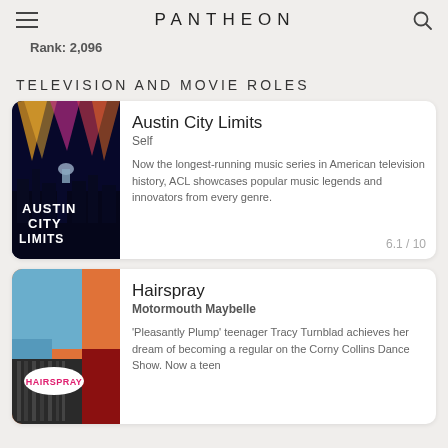PANTHEON
Rank: 2,096
TELEVISION AND MOVIE ROLES
Austin City Limits
Self
Now the longest-running music series in American television history, ACL showcases popular music legends and innovators from every genre.
6.1 / 10
Hairspray
Motormouth Maybelle
'Pleasantly Plump' teenager Tracy Turnblad achieves her dream of becoming a regular on the Corny Collins Dance Show. Now a teen